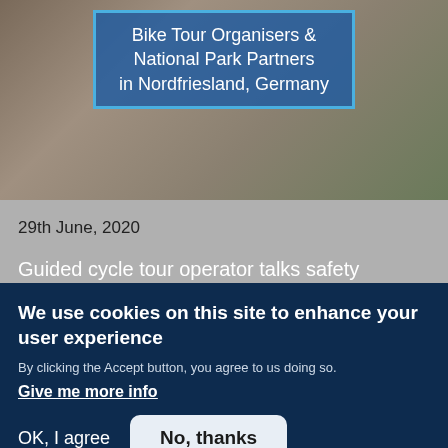[Figure (photo): Two people in blue cycling jerseys sitting in front of a brick wall and gravel background, with a blue-bordered overlay box showing text about Bike Tour Organisers & National Park Partners in Nordfriesland, Germany]
29th June, 2020
Guided cycle tour operator talks safety distance during COVID-19
Bürte and Björn had to postpone their first season's kick-off, but used the time for new tour ideas.
We use cookies on this site to enhance your user experience
By clicking the Accept button, you agree to us doing so.
Give me more info
OK, I agree
No, thanks